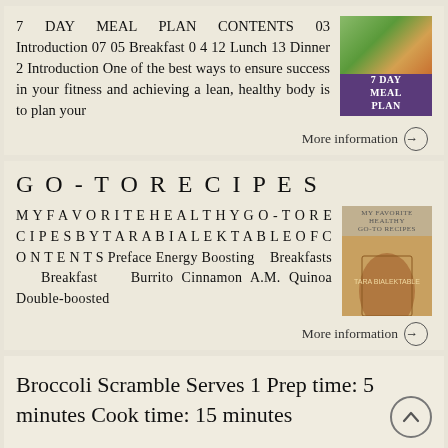7 DAY MEAL PLAN CONTENTS 03 Introduction 07 05 Breakfast 0 4 12 Lunch 13 Dinner 2 Introduction One of the best ways to ensure success in your fitness and achieving a lean, healthy body is to plan your
[Figure (illustration): Book cover image for 7 Day Meal Plan with food photos on top and purple label at bottom reading '7 DAY MEAL PLAN']
More information →
GO-TORECIPES
MYFAVORITEHEALTHYGO-TO RECIPESBYTARABIALEKTABLE OFCONTENTS Preface Energy Boosting Breakfasts Breakfast Burrito Cinnamon A.M. Quinoa Double-boosted
[Figure (photo): Woman in black tank top posing, cookbook/recipe book cover image]
More information →
Broccoli Scramble Serves 1 Prep time: 5 minutes Cook time: 15 minutes